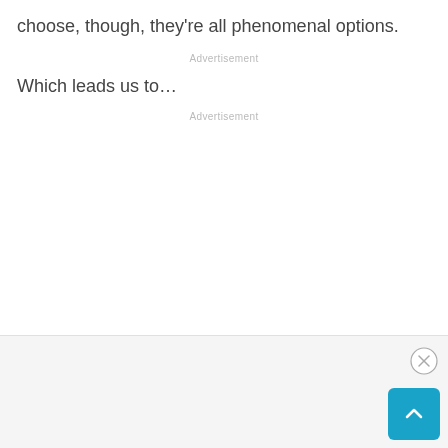choose, though, they’re all phenomenal options.
Advertisement
Which leads us to…
Advertisement
[Figure (other): Bottom bar separator and advertisement footer section with close button (X) and scroll-to-top button (teal chevron up)]